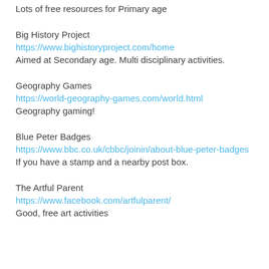Lots of free resources for Primary age
Big History Project
https://www.bighistoryproject.com/home
Aimed at Secondary age. Multi disciplinary activities.
Geography Games
https://world-geography-games.com/world.html
Geography gaming!
Blue Peter Badges
https://www.bbc.co.uk/cbbc/joinin/about-blue-peter-badges
If you have a stamp and a nearby post box.
The Artful Parent
https://www.facebook.com/artfulparent/
Good, free art activities